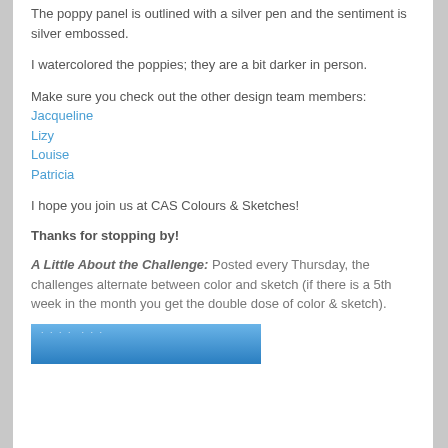The poppy panel is outlined with a silver pen and the sentiment is silver embossed.
I watercolored the poppies; they are a bit darker in person.
Make sure you check out the other design team members:
Jacqueline
Lizy
Louise
Patricia
I hope you join us at CAS Colours & Sketches!
Thanks for stopping by!
A Little About the Challenge: Posted every Thursday, the challenges alternate between color and sketch (if there is a 5th week in the month you get the double dose of color & sketch).
[Figure (photo): Bottom edge of a blue image strip with white dot texture visible at top]